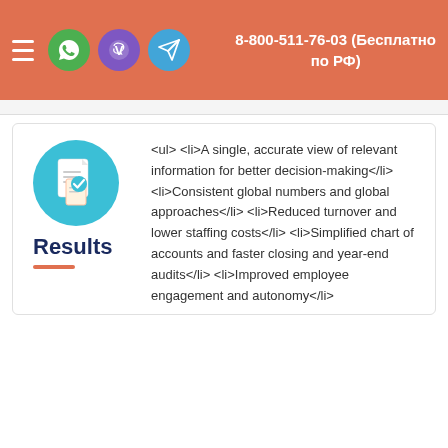8-800-511-76-03 (Бесплатно по РФ)
Results
<ul> <li>A single, accurate view of relevant information for better decision-making</li> <li>Consistent global numbers and global approaches</li> <li>Reduced turnover and lower staffing costs</li> <li>Simplified chart of accounts and faster closing and year-end audits</li> <li>Improved employee engagement and autonomy</li>